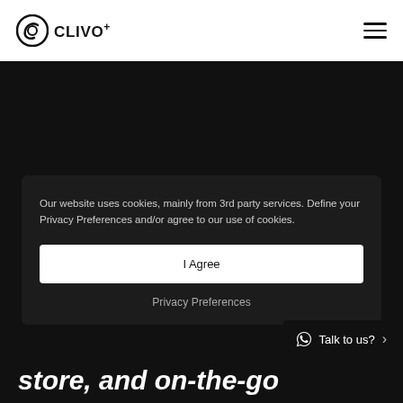[Figure (logo): CLIVO+ logo with circular C icon and text CLIVO+]
Our website uses cookies, mainly from 3rd party services. Define your Privacy Preferences and/or agree to our use of cookies.
I Agree
Privacy Preferences
Talk to us?
store, and on-the-go